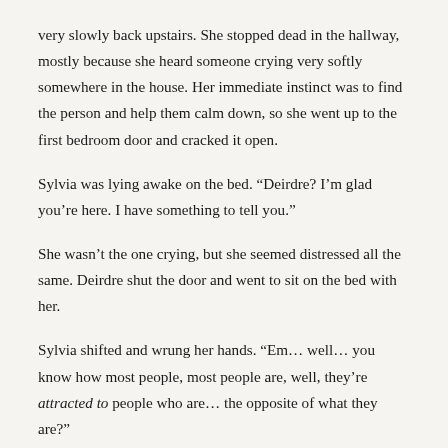very slowly back upstairs. She stopped dead in the hallway, mostly because she heard someone crying very softly somewhere in the house. Her immediate instinct was to find the person and help them calm down, so she went up to the first bedroom door and cracked it open.
Sylvia was lying awake on the bed. “Deirdre? I’m glad you’re here. I have something to tell you.”
She wasn’t the one crying, but she seemed distressed all the same. Deirdre shut the door and went to sit on the bed with her.
Sylvia shifted and wrung her hands. “Em… well… you know how most people, most people are, well, they’re attracted to people who are… the opposite of what they are?”